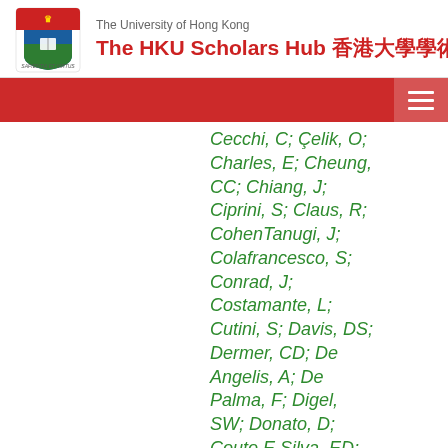The University of Hong Kong — The HKU Scholars Hub 香港大學學術庫
Cecchi, C; Çelik, O; Charles, E; Cheung, CC; Chiang, J; Ciprini, S; Claus, R; CohenTanugi, J; Colafrancesco, S; Conrad, J; Costamante, L; Cutini, S; Davis, DS; Dermer, CD; De Angelis, A; De Palma, F; Digel, SW; Donato, D; Couto E Silva, ED; Drell, PS; Dubois, R; Dumora, D; Edmonds, Y; Farnier, C; Favuzzi